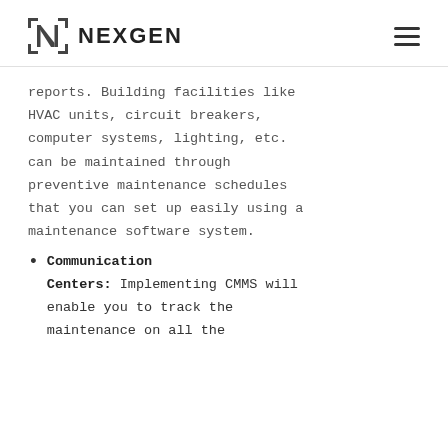NEXGEN
reports. Building facilities like HVAC units, circuit breakers, computer systems, lighting, etc. can be maintained through preventive maintenance schedules that you can set up easily using a maintenance software system.
Communication Centers: Implementing CMMS will enable you to track the maintenance on all the